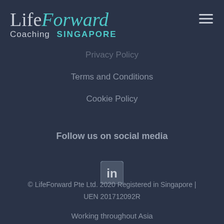LifeForward Coaching SINGAPORE
Privacy Policy
Terms and Conditions
Cookie Policy
Follow us on social media
[Figure (logo): LinkedIn icon — rounded square with 'in' logotype]
© LifeForward Pte Ltd. 2020 Registered in Singapore | UEN 201712092R
Working throughout Asia